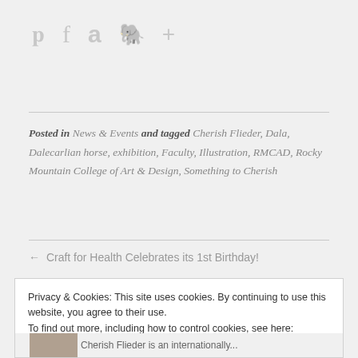[Figure (other): Social sharing icons row: Pinterest (p), Facebook (f), Amazon (a), Evernote (elephant), plus (+) sign — all in light gray]
Posted in News & Events and tagged Cherish Flieder, Dala, Dalecarlian horse, exhibition, Faculty, Illustration, RMCAD, Rocky Mountain College of Art & Design, Something to Cherish
← Craft for Health Celebrates its 1st Birthday!
Privacy & Cookies: This site uses cookies. By continuing to use this website, you agree to their use.
To find out more, including how to control cookies, see here:
Cookie Policy
Close and accept
Cherish Flieder is an internationally...